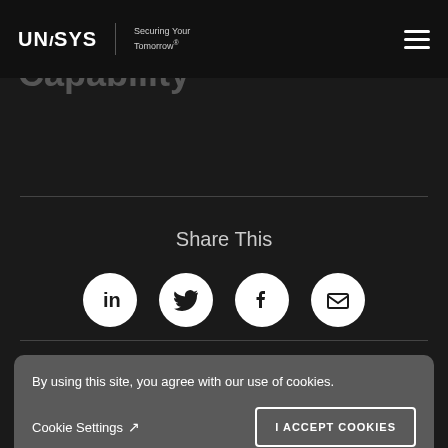UNISYS | Securing Your Tomorrow®
New Distribution Capability
Share This
[Figure (infographic): Four social media share icons in white circles on dark background: LinkedIn, Twitter, Facebook, Email]
By using this site, you agree with our use of cookies.
Cookie Settings ↗  I ACCEPT COOKIES
through all stages of digital